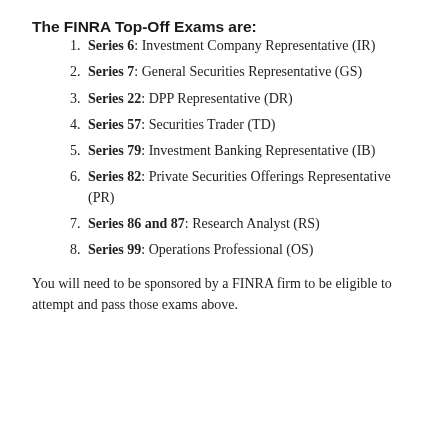The FINRA Top-Off Exams are:
Series 6: Investment Company Representative (IR)
Series 7: General Securities Representative (GS)
Series 22: DPP Representative (DR)
Series 57: Securities Trader (TD)
Series 79: Investment Banking Representative (IB)
Series 82: Private Securities Offerings Representative (PR)
Series 86 and 87: Research Analyst (RS)
Series 99: Operations Professional (OS)
You will need to be sponsored by a FINRA firm to be eligible to attempt and pass those exams above.